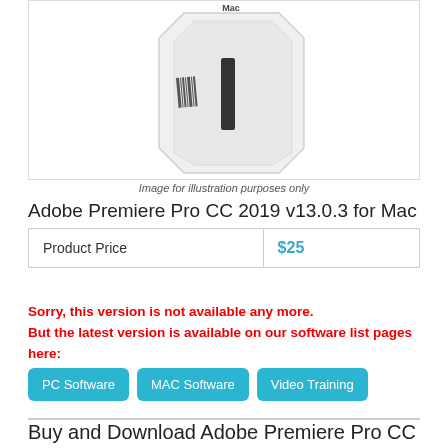[Figure (photo): Product image of a white NAS/software box device with a barcode on the side and a black slot, labeled Mac at the top]
Image for illustration purposes only
Adobe Premiere Pro CC 2019 v13.0.3 for Mac
| Product Price | $25 |
Sorry, this version is not available any more. But the latest version is available on our software list pages here:
PC Software
MAC Software
Video Training
Buy and Download Adobe Premiere Pro CC 2019 v13.0.3 for Mac